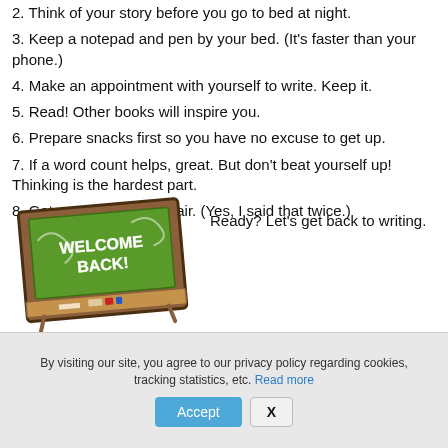2. Think of your story before you go to bed at night.
3. Keep a notepad and pen by your bed. (It's faster than your phone.)
4. Make an appointment with yourself to write. Keep it.
5. Read! Other books will inspire you.
6. Prepare snacks first so you have no excuse to get up.
7. If a word count helps, great. But don't beat yourself up! Thinking is the hardest part.
8. Get your butt in the chair. (Yes, I said that twice.)
[Figure (illustration): A chalkboard-style sign saying WELCOME BACK! with decorative frame in brown and green colors]
Ready? Let's get back to writing.
By visiting our site, you agree to our privacy policy regarding cookies, tracking statistics, etc. Read more
Accept   X